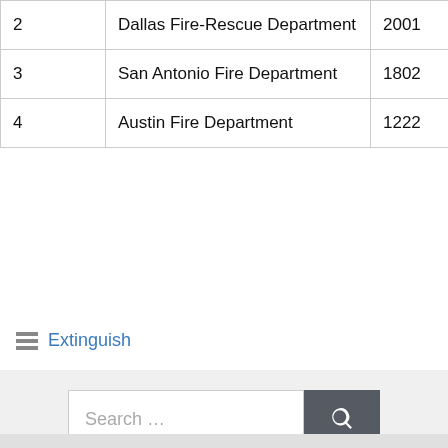| 2 | Dallas Fire-Rescue Department | 2001 |
| 3 | San Antonio Fire Department | 1802 |
| 4 | Austin Fire Department | 1222 |
Extinguish